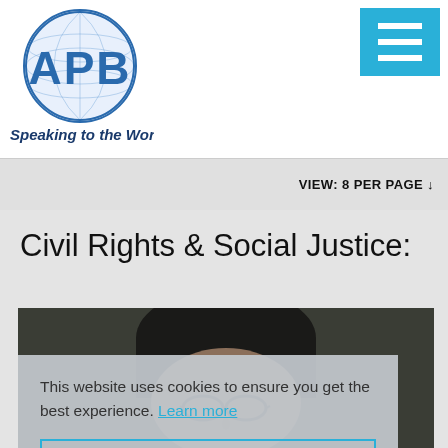[Figure (logo): APB Speaking to the World logo with globe graphic and blue text]
[Figure (other): Hamburger menu button (cyan/blue square with three white horizontal lines)]
VIEW: 8 PER PAGE ↓
Civil Rights & Social Justice:
[Figure (photo): Person with glasses and dark curly hair, partially obscured by cookie consent overlay]
This website uses cookies to ensure you get the best experience. Learn more
Got it!